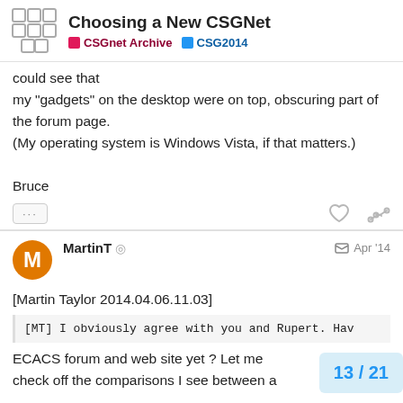Choosing a New CSGNet | CSGnet Archive | CSG2014
could see that
my "gadgets" on the desktop were on top, obscuring part of the forum page.
(My operating system is Windows Vista, if that matters.)

Bruce
MartinT ◎  Apr '14
[Martin Taylor 2014.04.06.11.03]
[MT] I obviously agree with you and Rupert. Hav
ECACS forum and web site yet ? Let me
check off the comparisons I see between a
13 / 21